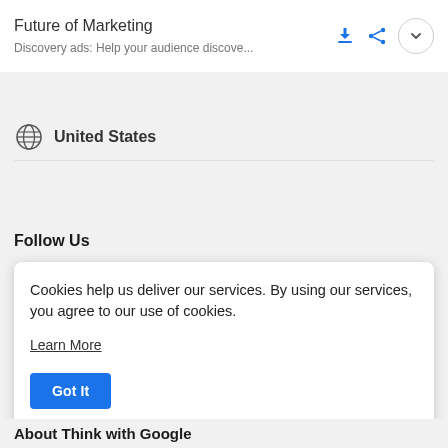Future of Marketing
Discovery ads: Help your audience discove...
United States
Follow Us
Cookies help us deliver our services. By using our services, you agree to our use of cookies.
Learn More
Got It
About Think with Google